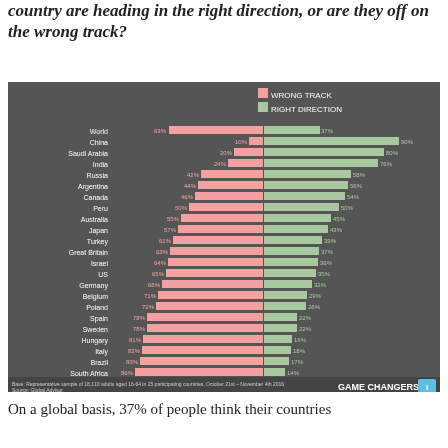country are heading in the right direction, or are they off on the wrong track?
[Figure (grouped-bar-chart): Wrong Track vs Right Direction by Country]
Base: Representative sample of 18,110 adults aged 16-64 in 25 participating countries, October 21st – November 4th 2016
Source: Global Advisor
On a global basis, 37% of people think their countries